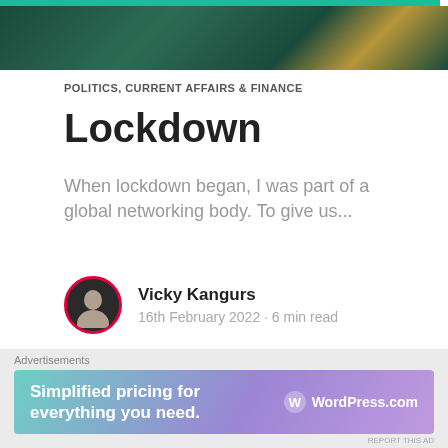[Figure (photo): Dark green background image with gold frame detail, partially visible at top of page]
POLITICS, CURRENT AFFAIRS & FINANCE
Lockdown
When lockdown began, I was part of a global networking body. To give us...
Vicky Kangurs
16th February 2022 · 6 min read
[Figure (photo): Two people viewed from behind, one with dark curly hair and one with light hair]
Advertisements
[Figure (screenshot): WordPress.com advertisement banner: Simplified pricing for everything you need.]